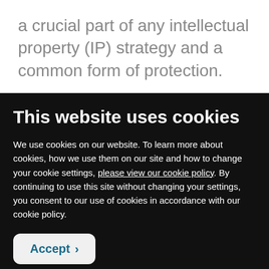a crucial part of any intellectual property (IP) strategy and a common form of protection.
This website uses cookies
We use cookies on our website. To learn more about cookies, how we use them on our site and how to change your cookie settings, please view our cookie policy. By continuing to use this site without changing your settings, you consent to our use of cookies in accordance with our cookie policy.
Accept